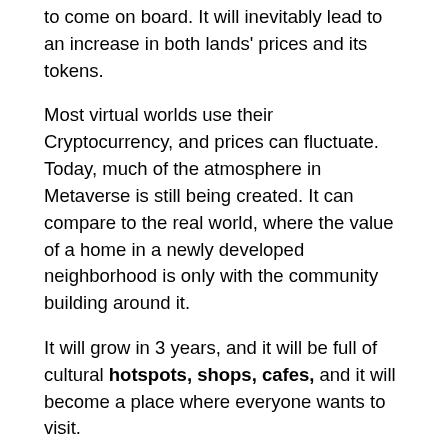to come on board. It will inevitably lead to an increase in both lands' prices and its tokens.
Most virtual worlds use their Cryptocurrency, and prices can fluctuate. Today, much of the atmosphere in Metaverse is still being created. It can compare to the real world, where the value of a home in a newly developed neighborhood is only with the community building around it.
It will grow in 3 years, and it will be full of cultural hotspots, shops, cafes, and it will become a place where everyone wants to visit.
Conclusion
Metaverse promises users an exciting new chapter, where our physical and virtual lives will be more integrated than ever. Virtual land will form an essential building in these new virtual worlds.
However, there is a significant risk as an emerging region, and